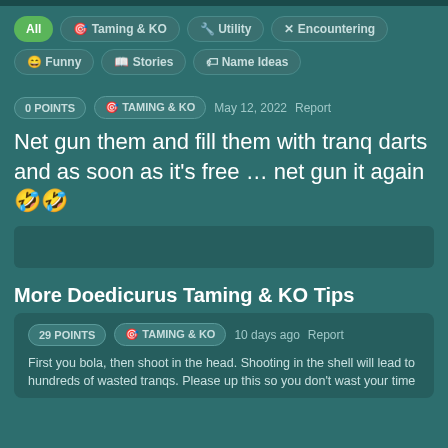All
Taming & KO
Utility
Encountering
Funny
Stories
Name Ideas
0 POINTS   TAMING & KO   May 12, 2022   Report
Net gun them and fill them with tranq darts and as soon as it's free … net gun it again 🤣🤣
More Doedicurus Taming & KO Tips
29 POINTS   TAMING & KO   10 days ago   Report
First you bola, then shoot in the head. Shooting in the shell will lead to hundreds of wasted tranqs. Please up this so you don't wast your time